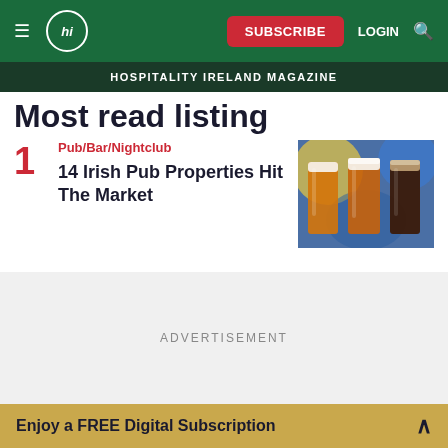Hospitality Ireland Magazine — SUBSCRIBE LOGIN navigation bar
HOSPITALITY IRELAND MAGAZINE
Most read listing
1. Pub/Bar/Nightclub — 14 Irish Pub Properties Hit The Market
[Figure (photo): Three pint glasses of beer — two amber lagers and one dark stout — lined up against a blurred colourful background]
ADVERTISEMENT
Enjoy a FREE Digital Subscription